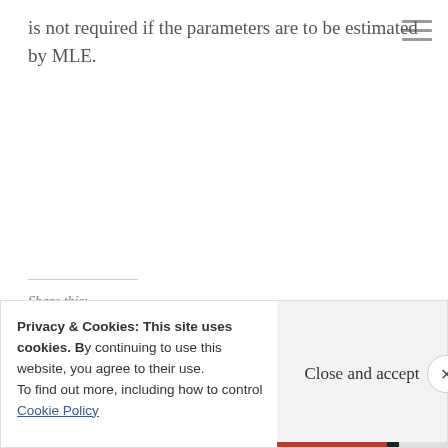is not required if the parameters are to be estimated by MLE.
Share this:
[Figure (other): Twitter and Facebook share buttons]
Privacy & Cookies: This site uses cookies. By continuing to use this website, you agree to their use. To find out more, including how to control cookies, see here: Cookie Policy
Close and accept